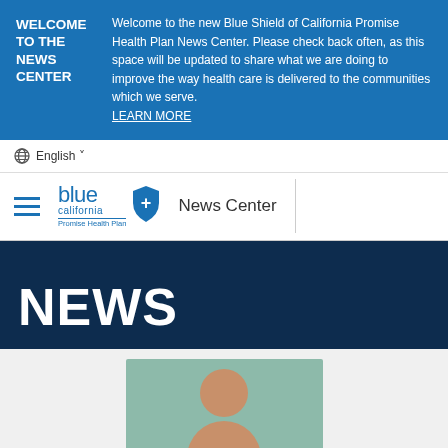WELCOME TO THE NEWS CENTER
Welcome to the new Blue Shield of California Promise Health Plan News Center. Please check back often, as this space will be updated to share what we are doing to improve the way health care is delivered to the communities which we serve. LEARN MORE
English
[Figure (logo): Blue Shield of California Promise Health Plan logo with shield icon and News Center label]
NEWS
[Figure (photo): Photo of a person (partial view, head visible) against a teal/green background]